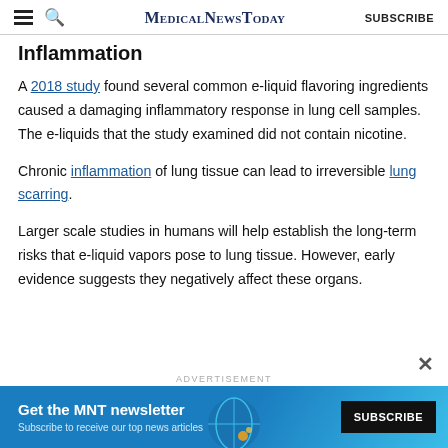MedicalNewsToday | SUBSCRIBE
Inflammation
A 2018 study found several common e-liquid flavoring ingredients caused a damaging inflammatory response in lung cell samples. The e-liquids that the study examined did not contain nicotine.
Chronic inflammation of lung tissue can lead to irreversible lung scarring.
Larger scale studies in humans will help establish the long-term risks that e-liquid vapors pose to lung tissue. However, early evidence suggests they negatively affect these organs.
[Figure (screenshot): Advertisement banner: Get the MNT newsletter. Subscribe to receive our top news articles. SUBSCRIBE button. Blue background with globe graphic.]